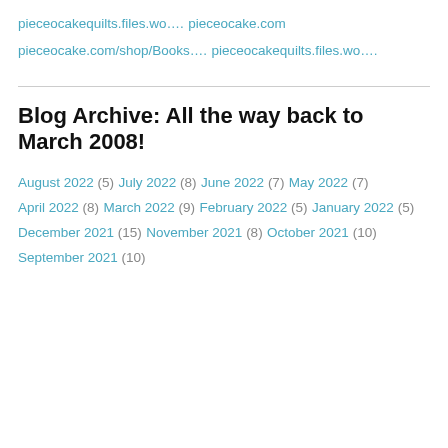pieceocakequilts.files.wo….
pieceocake.com
pieceocake.com/shop/Books….
pieceocakequilts.files.wo….
Blog Archive: All the way back to March 2008!
August 2022 (5)
July 2022 (8)
June 2022 (7)
May 2022 (7)
April 2022 (8)
March 2022 (9)
February 2022 (5)
January 2022 (5)
December 2021 (15)
November 2021 (8)
October 2021 (10)
September 2021 (10)